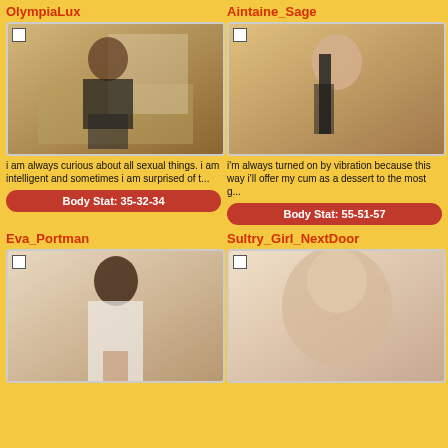OlympiaLux
[Figure (photo): Young woman in black top and fishnet tights posing in an office setting with a book]
i am always curious about all sexual things. i am intelligent and sometimes i am surprised of t...
Body Stat: 35-32-34
Aintaine_Sage
[Figure (photo): Blonde woman holding a large black object with tongue out]
i'm always turned on by vibration because this way i'll offer my cum as a dessert to the most g...
Body Stat: 55-51-57
Eva_Portman
[Figure (photo): Dark-haired woman with tattoos in white sweater posing]
Sultry_Girl_NextDoor
[Figure (photo): Blonde woman with blue eyes posing closely to camera]